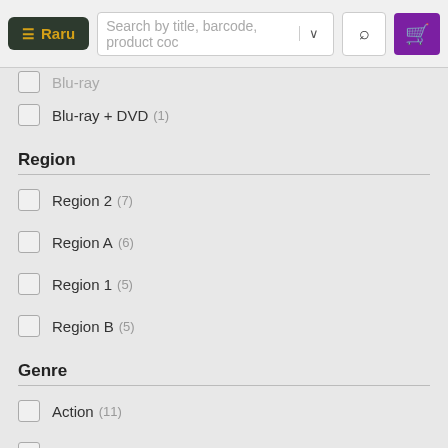Raru — Search by title, barcode, product code
Blu-ray + DVD (1)
Region
Region 2 (7)
Region A (6)
Region 1 (5)
Region B (5)
Genre
Action (11)
Drama (5)
Action, Adventure (2)